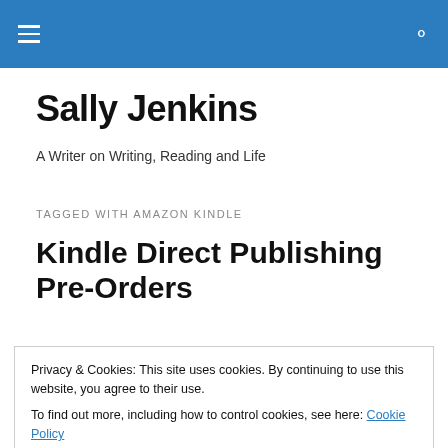Sally Jenkins — navigation header bar
Sally Jenkins
A Writer on Writing, Reading and Life
TAGGED WITH AMAZON KINDLE
Kindle Direct Publishing Pre-Orders
Privacy & Cookies: This site uses cookies. By continuing to use this website, you agree to their use. To find out more, including how to control cookies, see here: Cookie Policy
readers can order it up to 90 days in advance of the book's